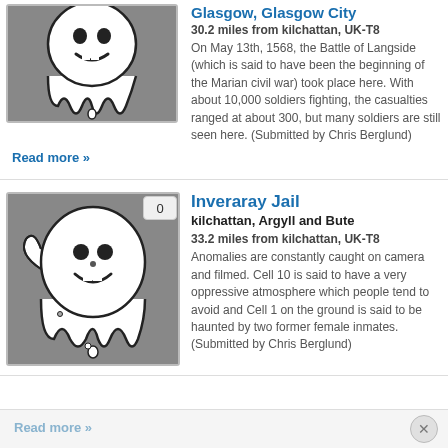[Figure (illustration): Ghost illustration (white ghost cartoon on grey background) for Glasgow listing, partially cropped at top]
Glasgow, Glasgow City
30.2 miles from kilchattan, UK-T8
On May 13th, 1568, the Battle of Langside (which is said to have been the beginning of the Marian civil war) took place here. With about 10,000 soldiers fighting, the casualties ranged at about 300, but many soldiers are still seen here. (Submitted by Chris Berglund)
Read more »
[Figure (illustration): Ghost illustration (white ghost cartoon on grey background) for Inveraray Jail listing]
Inveraray Jail
kilchattan, Argyll and Bute
33.2 miles from kilchattan, UK-T8
Anomalies are constantly caught on camera and filmed. Cell 10 is said to have a very oppressive atmosphere which people tend to avoid and Cell 1 on the ground is said to be haunted by two former female inmates. (Submitted by Chris Berglund)
Read more »